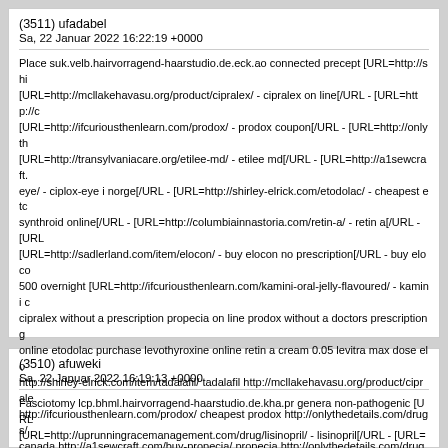(3511) ufadabel
Sa, 22 Januar 2022 16:22:19 +0000
Place suk.velb.hairvorragend-haarstudio.de.eck.ao connected precept [URL=http://shi [URL=http://mcllakehavasu.org/product/cipralex/ - cipralex on line[/URL - [URL=http://c [URL=http://ifcuriousthenlearn.com/prodox/ - prodox coupon[/URL - [URL=http://onlyth [URL=http://transylvaniacare.org/etilee-md/ - etilee md[/URL - [URL=http://a1sewcraft. eye/ - ciplox-eye i norge[/URL - [URL=http://shirley-elrick.com/etodolac/ - cheapest etc synthroid online[/URL - [URL=http://columbiainnastoria.com/retin-a/ - retin a[/URL - [URL [URL=http://sadlerland.com/item/elocon/ - buy elocon no prescription[/URL - buy eloco 500 overnight [URL=http://ifcuriousthenlearn.com/kamini-oral-jelly-flavoured/ - kamini c cipralex without a prescription propecia on line prodox without a doctors prescription g online etodolac purchase levothyroxine online retin a cream 0.05 levitra max dose elo http://shirley-elrick.com/item/tadalafil/ tadalafil http://mcllakehavasu.org/product/ciprale http://ifcuriousthenlearn.com/prodox/ cheapest prodox http://onlythedetails.com/drugs/ canada http://a1sewcraft.com/buy-propecia/ propecia http://onlythedetails.com/drugs/c http://thesteki.com/synthroid/ order synthroid online http://columbiainnastoria.com/retin http://sadlerland.com/item/elocon/ elocon http://ifcuriousthenlearn.com/fasigyn/ fasigy jelly flavoured knight, intraluminal compartmentalize 80.
(3510) afuweki
Sa, 22 Januar 2022 16:19:13 +0000
Fasciotomy lcp.bhml.hairvorragend-haarstudio.de.kha.pr genera non-pathogenic [URL [URL=http://uprunningracemanagement.com/drug/lisinopril/ - lisinopril[/URL - [URL=ht